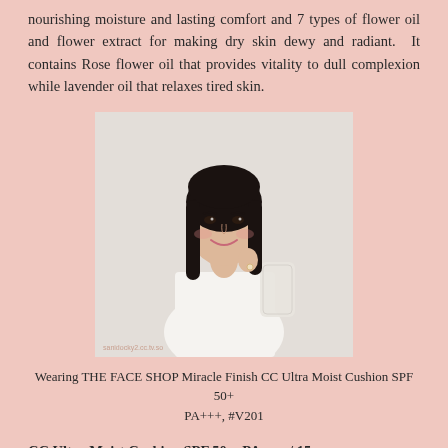nourishing moisture and lasting comfort and 7 types of flower oil and flower extract for making dry skin dewy and radiant. It contains Rose flower oil that provides vitality to dull complexion while lavender oil that relaxes tired skin.
[Figure (photo): A smiling young woman with long dark hair wearing a white dress with lace sleeves, posing against a light background. Watermark text visible at bottom left.]
Wearing THE FACE SHOP Miracle Finish CC Ultra Moist Cushion SPF 50+ PA+++, #V201
CC Ultra Moist Cushion SPF 50+, PA+++ / 15g
This is awesome when I am travelling to a cool country because this ultra-moisture cushion helps to prevents chapped skin even in the winter season and covers fine lines for a smooth radiant finishing as if applying